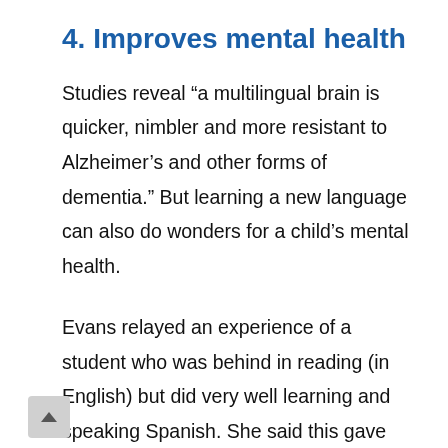4. Improves mental health
Studies reveal “a multilingual brain is quicker, nimbler and more resistant to Alzheimer’s and other forms of dementia.” But learning a new language can also do wonders for a child’s mental health.
Evans relayed an experience of a student who was behind in reading (in English) but did very well learning and speaking Spanish. She said this gave the student a confidence boost and a sense of